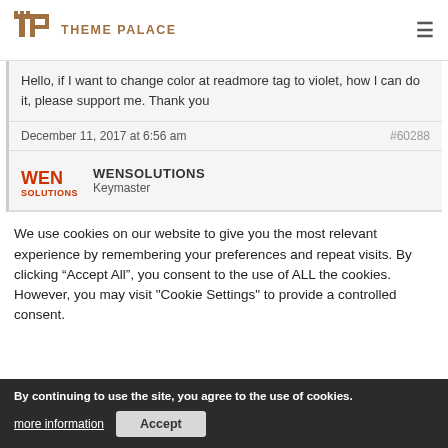THEME PALACE
Hello, if I want to change color at readmore tag to violet, how I can do it, please support me. Thank you
December 11, 2017 at 6:56 am   #60288
WENSOLUTIONS Keymaster
We use cookies on our website to give you the most relevant experience by remembering your preferences and repeat visits. By clicking “Accept All”, you consent to the use of ALL the cookies. However, you may visit "Cookie Settings" to provide a controlled consent.
By continuing to use the site, you agree to the use of cookies.
more information
Accept